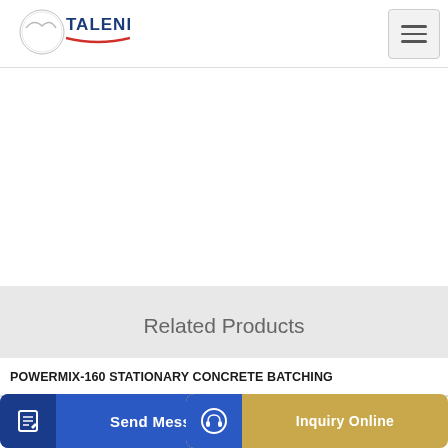[Figure (logo): TALENET company logo with red swoosh underline]
Related Products
POWERMIX-160 STATIONARY CONCRETE BATCHING
Concrete Pump Truck China Manufacturer of Concrete Pump Truck
Send Message
Inquiry Online